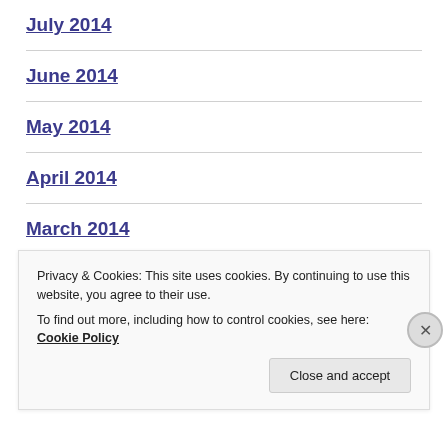July 2014
June 2014
May 2014
April 2014
March 2014
February 2014
Privacy & Cookies: This site uses cookies. By continuing to use this website, you agree to their use. To find out more, including how to control cookies, see here: Cookie Policy
Close and accept